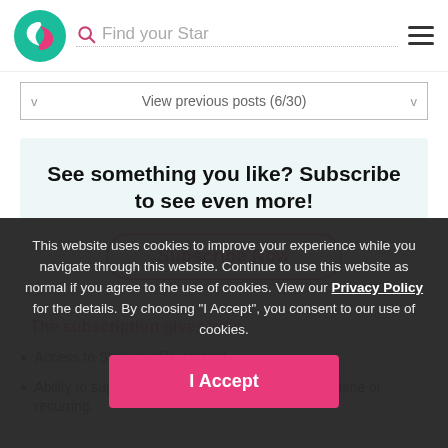Find your Star
View previous posts (6/30)
See something you like? Subscribe to see even more!
Subscribe Now
The subscription gives you:
Access to Star's profile content.
Ability to support your Star through tipping – one-time or recurring.
This website uses cookies to improve your experience while you navigate through this website. Continue to use this website as normal if you agree to the use of cookies. View our Privacy Policy for the details. By choosing "I Accept", you consent to our use of cookies.
I Accept